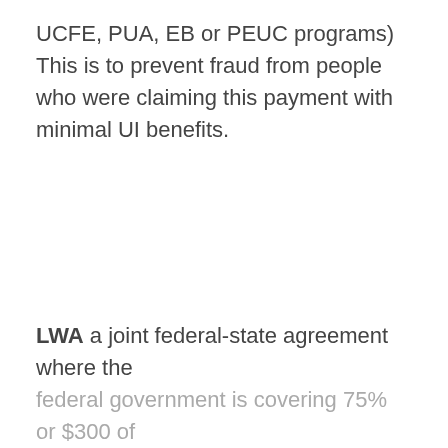UCFE, PUA, EB or PEUC programs) This is to prevent fraud from people who were claiming this payment with minimal UI benefits.
LWA a joint federal-state agreement where the federal government is covering 75% or $300 of